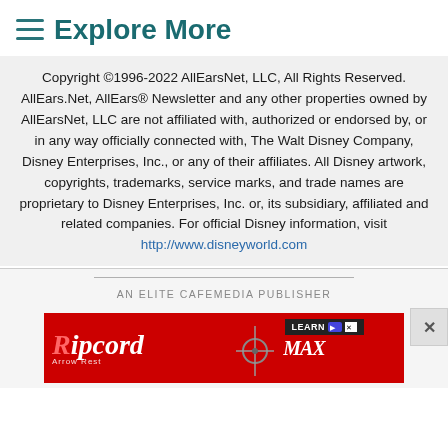Explore More
Copyright ©1996-2022 AllEarsNet, LLC, All Rights Reserved.
AllEars.Net, AllEars® Newsletter and any other properties owned by AllEarsNet, LLC are not affiliated with, authorized or endorsed by, or in any way officially connected with, The Walt Disney Company, Disney Enterprises, Inc., or any of their affiliates. All Disney artwork, copyrights, trademarks, service marks, and trade names are proprietary to Disney Enterprises, Inc. or, its subsidiary, affiliated and related companies. For official Disney information, visit http://www.disneyworld.com
AN ELITE CAFEMEDIA PUBLISHER
[Figure (illustration): Advertisement banner for Ripcord Arrow Rest product featuring logo, bow component imagery, and MAX branding on red background with LEARN button]